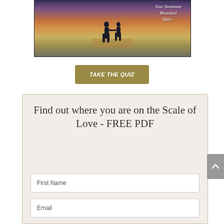[Figure (photo): Two silhouetted figures holding hands on a beach at sunset, with text overlay reading 'Your Soulmate Revealed Quiz...']
TAKE THE QUIZ
Find out where you are on the Scale of Love - FREE PDF
First Name
Email